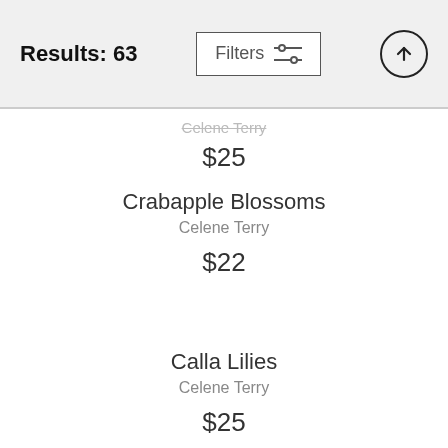Results: 63 | Filters
Celene Terry
$25
Crabapple Blossoms
Celene Terry
$22
Calla Lilies
Celene Terry
$25